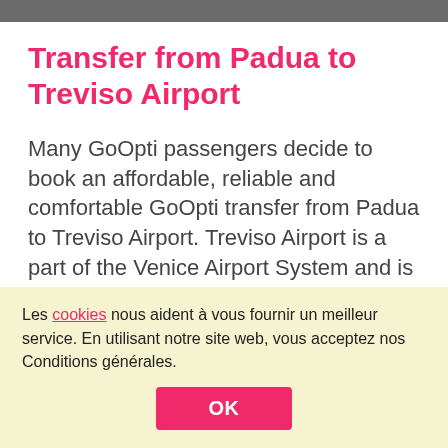Transfer from Padua to Treviso Airport
Many GoOpti passengers decide to book an affordable, reliable and comfortable GoOpti transfer from Padua to Treviso Airport. Treviso Airport is a part of the Venice Airport System and is about 20 kilometers away from the Venice Airport. It is one of the most popular
Les cookies nous aident à vous fournir un meilleur service. En utilisant notre site web, vous acceptez nos Conditions générales.
OK